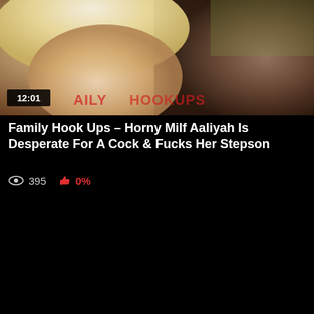[Figure (photo): Video thumbnail showing two people in close proximity, one with blonde hair, the other with dark beard. Timestamp 12:01 shown in lower left. Red watermark text overlay visible.]
Family Hook Ups - Horny Milf Aaliyah Is Desperate For A Cock & Fucks Her Stepson
395 views  0%